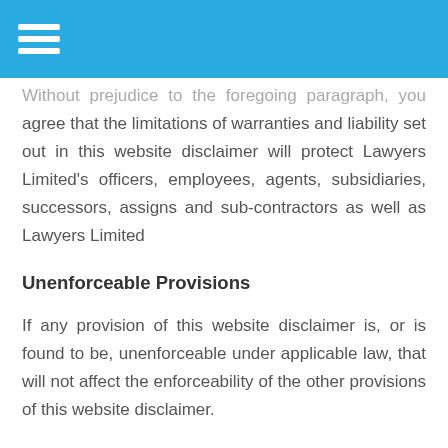Without prejudice to the foregoing paragraph, you agree that the limitations of warranties and liability set out in this website disclaimer will protect Lawyers Limited's officers, employees, agents, subsidiaries, successors, assigns and sub-contractors as well as Lawyers Limited
Unenforceable Provisions
If any provision of this website disclaimer is, or is found to be, unenforceable under applicable law, that will not affect the enforceability of the other provisions of this website disclaimer.
Indemnity